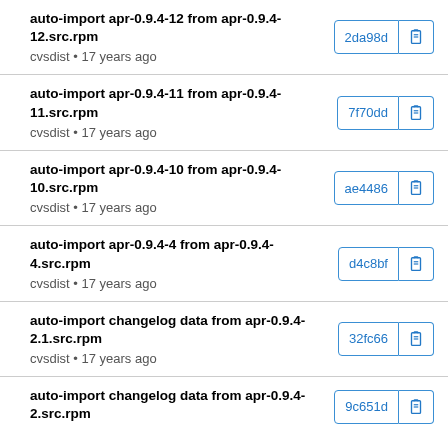auto-import apr-0.9.4-12 from apr-0.9.4-12.src.rpm
cvsdist • 17 years ago
auto-import apr-0.9.4-11 from apr-0.9.4-11.src.rpm
cvsdist • 17 years ago
auto-import apr-0.9.4-10 from apr-0.9.4-10.src.rpm
cvsdist • 17 years ago
auto-import apr-0.9.4-4 from apr-0.9.4-4.src.rpm
cvsdist • 17 years ago
auto-import changelog data from apr-0.9.4-2.1.src.rpm
cvsdist • 17 years ago
auto-import changelog data from apr-0.9.4-2.src.rpm
cvsdist • 17 years ago